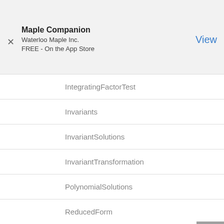Maple Companion
Waterloo Maple Inc.
FREE - On the App Store
IntegratingFactorTest
Invariants
InvariantSolutions
InvariantTransformation
PolynomialSolutions
ReducedForm
SimilaritySolutions
SimilarityTransformation
SymmetrySolutions